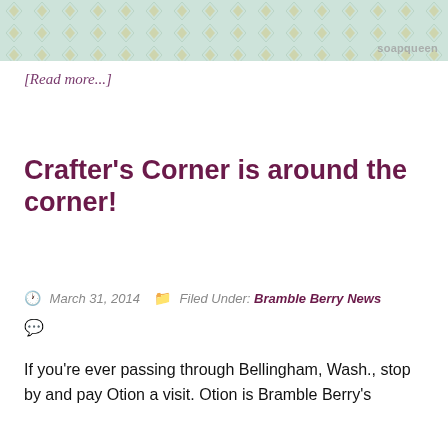[Figure (illustration): Decorative banner image with light blue/mint background and small gold/yellow diamond pattern. 'soapqueen' watermark text in grey at bottom right.]
[Read more...]
Crafter's Corner is around the corner!
March 31, 2014   Filed Under: Bramble Berry News
If you're ever passing through Bellingham, Wash., stop by and pay Otion a visit. Otion is Bramble Berry's